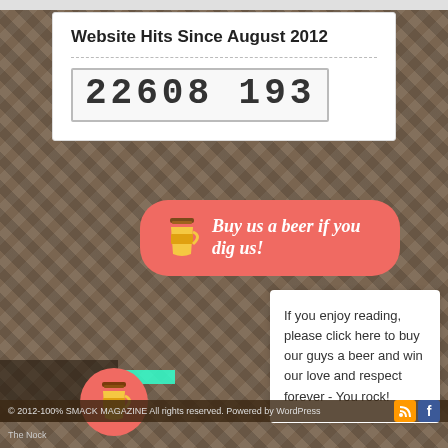Website Hits Since August 2012
22608 193
[Figure (infographic): Red rounded button with coffee cup icon and text: Buy us a beer if you dig us!]
If you enjoy reading, please click here to buy our guys a beer and win our love and respect forever - You rock!
© 2012-100% SMACK MAGAZINE All rights reserved. Powered by WordPress